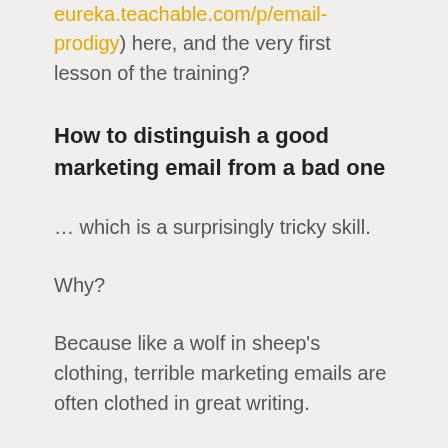eureka.teachable.com/p/email-prodigy) here, and the very first lesson of the training?
How to distinguish a good marketing email from a bad one
… which is a surprisingly tricky skill.
Why?
Because like a wolf in sheep's clothing, terrible marketing emails are often clothed in great writing.